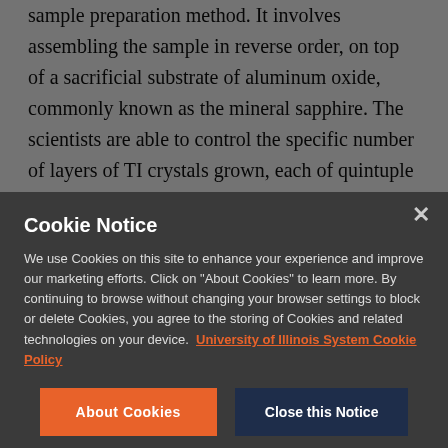sample preparation method. It involves assembling the sample in reverse order, on top of a sacrificial substrate of aluminum oxide, commonly known as the mineral sapphire. The scientists are able to control the specific number of layers of TI crystals grown, each of quintuple atomic thickness. Then a polycrystalline superconducting layer of niobium is sputter-deposited on top of the TI film. The
Cookie Notice
We use Cookies on this site to enhance your experience and improve our marketing efforts. Click on "About Cookies" to learn more. By continuing to browse without changing your browser settings to block or delete Cookies, you agree to the storing of Cookies and related technologies on your device. University of Illinois System Cookie Policy
About Cookies
Close this Notice